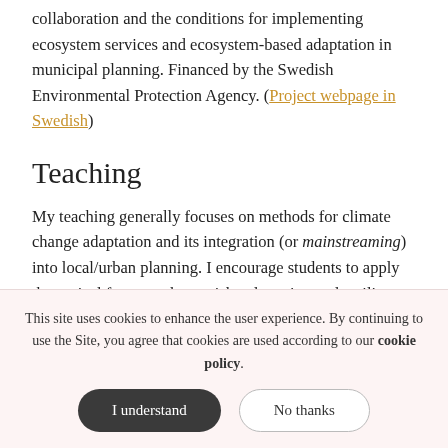collaboration and the conditions for implementing ecosystem services and ecosystem-based adaptation in municipal planning. Financed by the Swedish Environmental Protection Agency. (Project webpage in Swedish)
Teaching
My teaching generally focuses on methods for climate change adaptation and its integration (or mainstreaming) into local/urban planning. I encourage students to apply theoretical frameworks on risk, adaptation and resilience to analyse local climate risk beyond its apparent or
This site uses cookies to enhance the user experience. By continuing to use the Site, you agree that cookies are used according to our cookie policy.